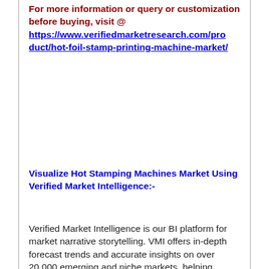For more information or query or customization before buying, visit @ https://www.verifiedmarketresearch.com/product/hot-foil-stamp-printing-machine-market/
Visualize Hot Stamping Machines Market Using Verified Market Intelligence:-
Verified Market Intelligence is our BI platform for market narrative storytelling. VMI offers in-depth forecast trends and accurate insights on over 20,000 emerging and niche markets, helping